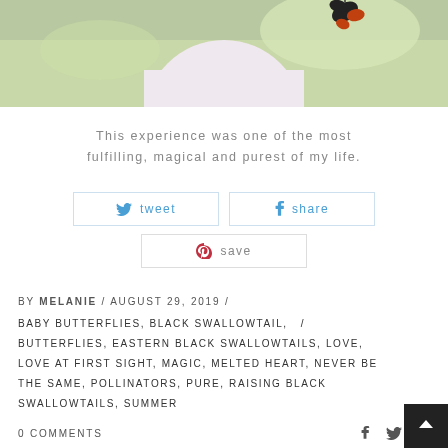[Figure (photo): Top portion of a photo showing a person in a light pink/white dress outdoors with greenery background, with what appears to be a butterfly at upper right]
This experience was one of the most fulfilling, magical and purest of my life.
tweet  share  save
BY MELANIE / AUGUST 29, 2019 /
BABY BUTTERFLIES, BLACK SWALLOWTAIL, / BUTTERFLIES, EASTERN BLACK SWALLOWTAILS, LOVE, LOVE AT FIRST SIGHT, MAGIC, MELTED HEART, NEVER BE THE SAME, POLLINATORS, PURE, RAISING BLACK SWALLOWTAILS, SUMMER
0 COMMENTS